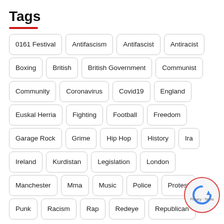Tags
0161 Festival
Antifascism
Antifascist
Antiracist
Boxing
British
British Government
Communist
Community
Coronavirus
Covid19
England
Euskal Herria
Fighting
Football
Freedom
Garage Rock
Grime
Hip Hop
History
Ira
Ireland
Kurdistan
Legislation
London
Manchester
Mma
Music
Police
Protest
Punk
Racism
Rap
Redeye
Republican